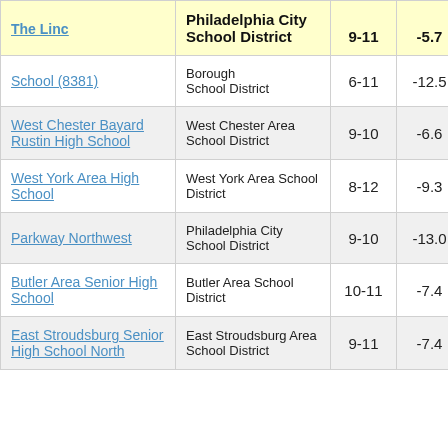| School | District | Grades | Score |  |
| --- | --- | --- | --- | --- |
| The Linc | Philadelphia City School District | 9-11 | -5.7 |  |
| School (8381) | Borough School District | 6-11 | -12.5 |  |
| West Chester Bayard Rustin High School | West Chester Area School District | 9-10 | -6.6 |  |
| West York Area High School | West York Area School District | 8-12 | -9.3 |  |
| Parkway Northwest | Philadelphia City School District | 9-10 | -13.0 |  |
| Butler Area Senior High School | Butler Area School District | 10-11 | -7.4 |  |
| East Stroudsburg Senior High School North | East Stroudsburg Area School District | 9-11 | -7.4 |  |